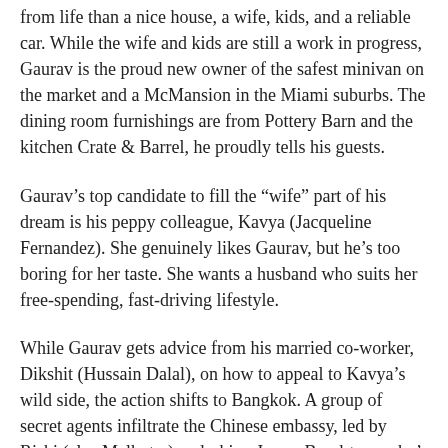from life than a nice house, a wife, kids, and a reliable car. While the wife and kids are still a work in progress, Gaurav is the proud new owner of the safest minivan on the market and a McMansion in the Miami suburbs. The dining room furnishings are from Pottery Barn and the kitchen Crate & Barrel, he proudly tells his guests.
Gaurav's top candidate to fill the “wife” part of his dream is his peppy colleague, Kavya (Jacqueline Fernandez). She genuinely likes Gaurav, but he’s too boring for her taste. She wants a husband who suits her free-spending, fast-driving lifestyle.
While Gaurav gets advice from his married co-worker, Dikshit (Hussain Dalal), on how to appeal to Kavya’s wild side, the action shifts to Bangkok. A group of secret agents infiltrate the Chinese embassy, led by Rishi (also Malhotra), a dashing James Bond-type who’s a dead-ringer for Gaurav. This is the dynamic man Kavya has been dreaming of.